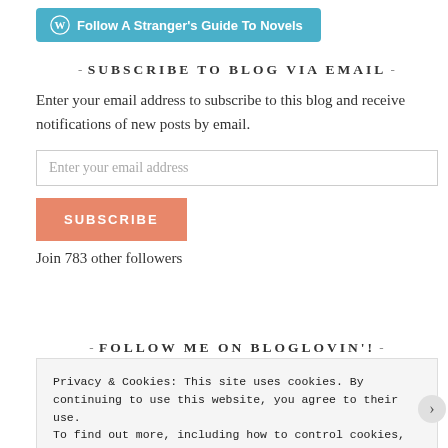[Figure (logo): Follow A Stranger's Guide To Novels button with WordPress icon on teal/blue background]
- SUBSCRIBE TO BLOG VIA EMAIL -
Enter your email address to subscribe to this blog and receive notifications of new posts by email.
Enter your email address
SUBSCRIBE
Join 783 other followers
- FOLLOW ME ON BLOGLOVIN'! -
Privacy & Cookies: This site uses cookies. By continuing to use this website, you agree to their use.
To find out more, including how to control cookies, see here: Cookie Policy
Close and accept